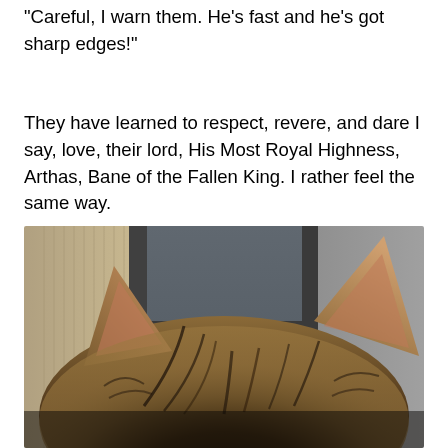"Careful, I warn them. He's fast and he's got sharp edges!"
They have learned to respect, revere, and dare I say, love, their lord, His Most Royal Highness, Arthas, Bane of the Fallen King. I rather feel the same way.
[Figure (photo): Close-up photo of a tabby cat, shot from behind and slightly above, showing the top of the cat's head with two large pointed ears. The cat's striped fur is dark brown/black with tabby markings. The background shows a window with dark frame and light-colored wall.]